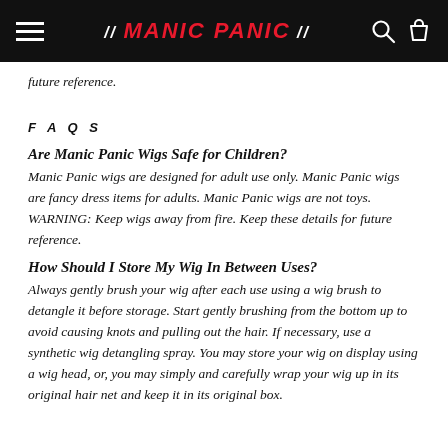MANIC PANIC
future reference.
FAQS
Are Manic Panic Wigs Safe for Children?
Manic Panic wigs are designed for adult use only. Manic Panic wigs are fancy dress items for adults. Manic Panic wigs are not toys. WARNING: Keep wigs away from fire. Keep these details for future reference.
How Should I Store My Wig In Between Uses?
Always gently brush your wig after each use using a wig brush to detangle it before storage. Start gently brushing from the bottom up to avoid causing knots and pulling out the hair. If necessary, use a synthetic wig detangling spray. You may store your wig on display using a wig head, or, you may simply and carefully wrap your wig up in its original hair net and keep it in its original box.